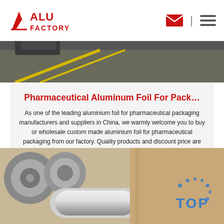ALU FACTORY
[Figure (photo): Top banner image showing aluminum foil manufacturing facility with rolls and machinery]
Pharmaceutical Aluminum Foil For Pack…
As one of the leading aluminium foil for pharmaceutical packaging manufacturers and suppliers in China, we warmly welcome you to buy or wholesale custom made aluminium foil for pharmaceutical packaging from our factory. Quality products and discount price are available. For quotation, contact us now.
Get Price
[Figure (photo): Bottom image showing aluminum foil rolls and machinery in a factory setting with a 'TOP' watermark logo in the bottom right]